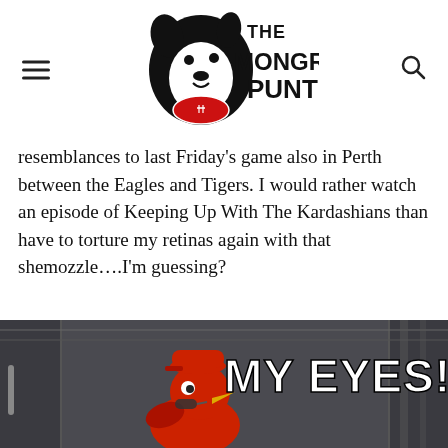The Mongrel Punt
resemblances to last Friday's game also in Perth between the Eagles and Tigers. I would rather watch an episode of Keeping Up With The Kardashians than have to torture my retinas again with that shemozzle….I'm guessing?
[Figure (photo): Meme image showing a cartoon bird (Iago from Aladdin) with text 'MY EYES!' overlaid in bold white capital letters, set against a dark industrial background.]